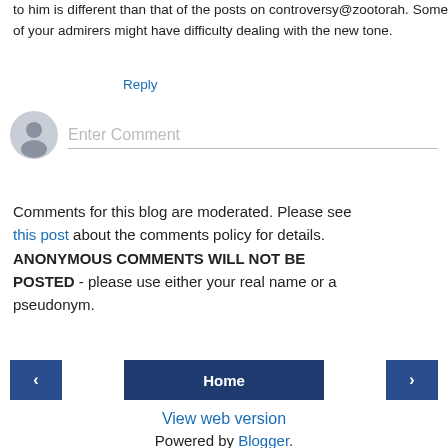to him is different than that of the posts on controversy@zootorah. Some of your admirers might have difficulty dealing with the new tone.
Reply
[Figure (illustration): User avatar circle (gray silhouette) next to an 'Enter Comment' input field with a bottom border]
Comments for this blog are moderated. Please see this post about the comments policy for details. ANONYMOUS COMMENTS WILL NOT BE POSTED - please use either your real name or a pseudonym.
Home
View web version
Powered by Blogger.